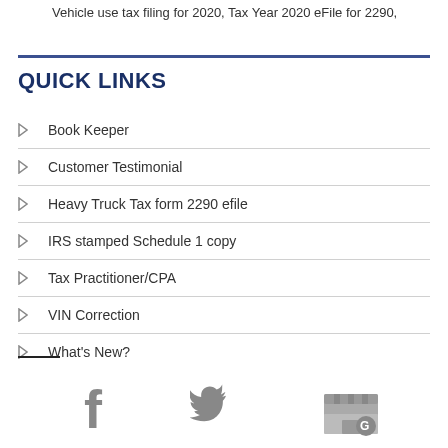Vehicle use tax filing for 2020, Tax Year 2020 eFile for 2290,
QUICK LINKS
Book Keeper
Customer Testimonial
Heavy Truck Tax form 2290 efile
IRS stamped Schedule 1 copy
Tax Practitioner/CPA
VIN Correction
What's New?
[Figure (infographic): Social media icons: Facebook, Twitter, Google My Business]